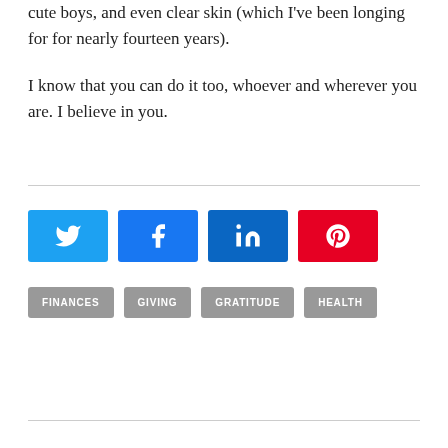cute boys, and even clear skin (which I've been longing for for nearly fourteen years).
I know that you can do it too, whoever and wherever you are. I believe in you.
[Figure (infographic): Social sharing buttons: Twitter (blue), Facebook (blue), LinkedIn (dark blue), Pinterest (red)]
[Figure (infographic): Tag labels: FINANCES, GIVING, GRATITUDE, HEALTH]